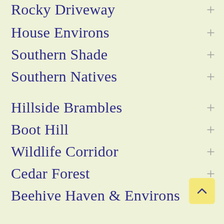Rocky Driveway
House Environs
Southern Shade
Southern Natives
Hillside Brambles
Boot Hill
Wildlife Corridor
Cedar Forest
Beehive Haven & Environs